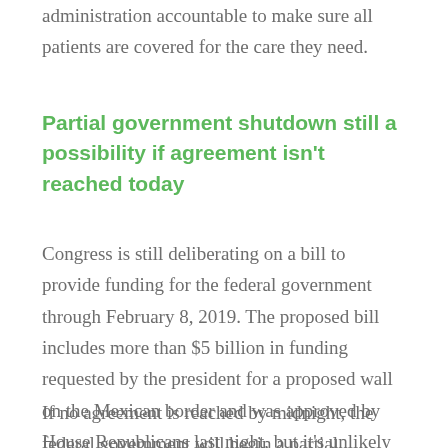administration accountable to make sure all patients are covered for the care they need.
Partial government shutdown still a possibility if agreement isn't reached today
Congress is still deliberating on a bill to provide funding for the federal government through February 8, 2019. The proposed bill includes more than $5 billion in funding requested by the president for a proposed wall on the Mexican border and was approved by House Republicans last night, but it's unlikely to pass through Senate Democrats when it's voted on this afternoon.
If no agreement is reached by midnight, the federal government will begin a partial